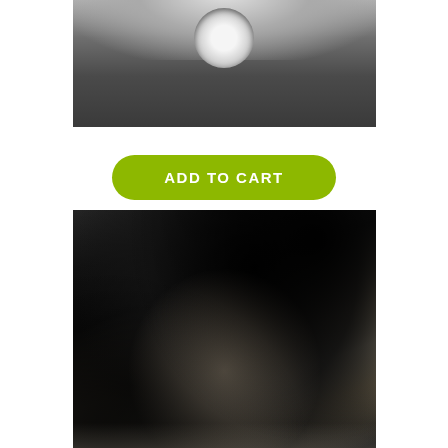[Figure (photo): Top portion of a vinyl tape product image showing a circular record/tape object on a dark textured background, cropped at top]
ADD TO CART
New Primitive Error // The End is Nil TAPE
¥1,590
[Figure (photo): Album art showing an abstract dark landscape with black and sandy/beige terrain, possibly burned or weathered material against a dark sky]
ADD TO CART
Various Artists // Chemical Imbalance - Label Sampler #16 Compilation CDR